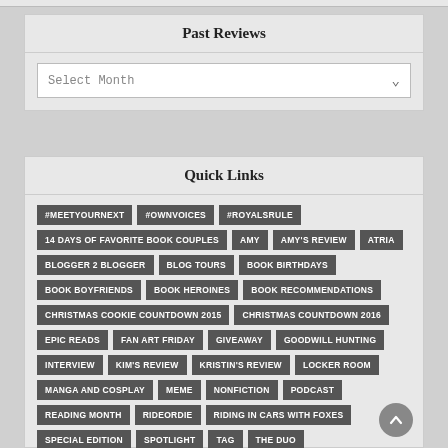Past Reviews
Select Month
Quick Links
#MEETYOURNEXT
#OWNVOICES
#ROYALSRULE
14 DAYS OF FAVORITE BOOK COUPLES
AMY
AMY'S REVIEW
ATRIA
BLOGGER 2 BLOGGER
BLOG TOURS
BOOK BIRTHDAYS
BOOK BOYFRIENDS
BOOK HEROINES
BOOK RECOMMENDATIONS
CHRISTMAS COOKIE COUNTDOWN 2015
CHRISTMAS COUNTDOWN 2016
EPIC READS
FAN ART FRIDAY
GIVEAWAY
GOODWILL HUNTING
INTERVIEW
KIM'S REVIEW
KRISTIN'S REVIEW
LOCKER ROOM
MANGA AND COSPLAY
MEME
NONFICTION
PODCAST
READING MONTH
RIDEORDIE
RIDING IN CARS WITH FOXES
SPECIAL EDITION
SPOTLIGHT
TAG
THE DUO
TIME WARP TUESDAY
TIME WARP WEDNESDAY
TOP TEN TUESDAY